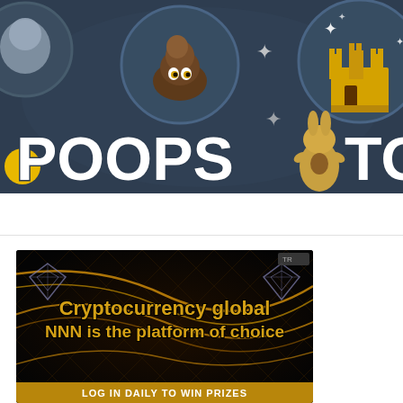[Figure (illustration): Game screenshot/banner showing 'POOPS TOW' title text with cartoon poop emoji character in circle, castle emoji in circle, sparkles, and a bunny/rabbit character. Dark blue-grey background.]
[Figure (illustration): Advertisement banner with black/dark background, golden swirl lines, diamond shapes, text 'Cryptocurrency global NNN is the platform of choice' in gold, and footer 'LOG IN DAILY TO WIN PRIZES' on gold bar.]